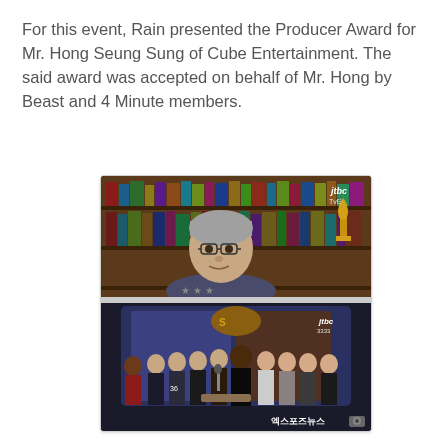For this event, Rain presented the Producer Award for Mr. Hong Seung Sung of Cube Entertainment. The said award was accepted on behalf of Mr. Hong by Beast and 4 Minute members.
[Figure (photo): Two-panel composite photo. Top panel: a middle-aged Korean man with gray hair wearing a dark star-patterned sweater, seated in front of bookshelves, with a gold award trophy visible on the right side. An JTBC watermark is visible. Bottom panel: a group of K-pop artists (Beast and 4 Minute members) standing on stage at an awards ceremony with a sparkly backdrop and microphone podium. Text in Korean '엑스포즈뉴스' visible in the bottom right corner.]